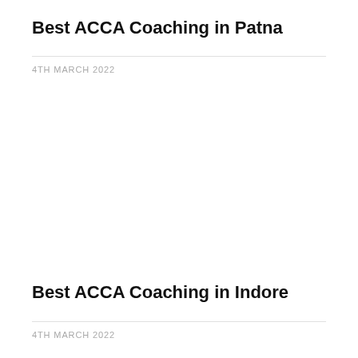Best ACCA Coaching in Patna
4TH MARCH 2022
Best ACCA Coaching in Indore
4TH MARCH 2022